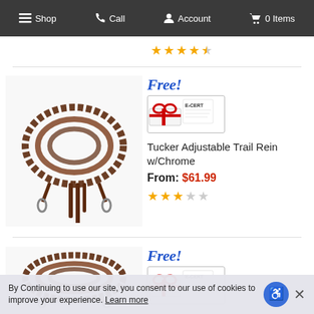Shop | Call | Account | 0 Items
[Figure (screenshot): Partial product image with star rating (4.5 stars) at top of page]
[Figure (photo): Tucker Adjustable Trail Rein with Chrome - brown leather reins coiled with snap clips]
Free! E-CERT
Tucker Adjustable Trail Rein w/Chrome
From: $61.99
3 out of 5 stars
[Figure (photo): Tucker Adjustable Trail Rein - second product listing, brown leather reins coiled]
Free! E-CERT
Tucker Adjustable Trail Rein
By Continuing to use our site, you consent to our use of cookies to improve your experience. Learn more